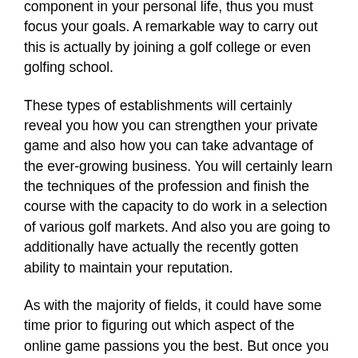component in your personal life, thus you must focus your goals. A remarkable way to carry out this is actually by joining a golf college or even golfing school.
These types of establishments will certainly reveal you how you can strengthen your private game and also how you can take advantage of the ever-growing business. You will certainly learn the techniques of the profession and finish the course with the capacity to do work in a selection of various golf markets. And also you are going to additionally have actually the recently gotten ability to maintain your reputation.
As with the majority of fields, it could have some time prior to figuring out which aspect of the online game passions you the best. But once you have operated in a variety of different regions you will definitely acquire ample understanding to produce the best job yourself.